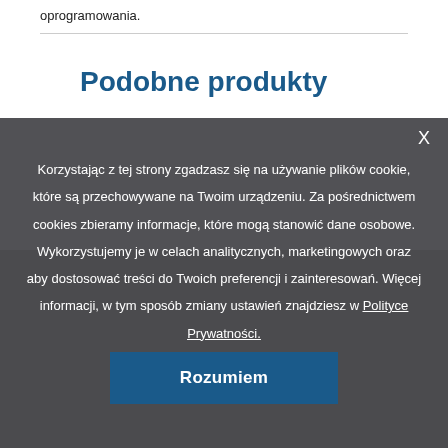oprogramowania.
Podobne produkty
Korzystając z tej strony zgadzasz się na używanie plików cookie, które są przechowywane na Twoim urządzeniu. Za pośrednictwem cookies zbieramy informacje, które mogą stanowić dane osobowe. Wykorzystujemy je w celach analitycznych, marketingowych oraz aby dostosować treści do Twoich preferencji i zainteresowań. Więcej informacji, w tym sposób zmiany ustawień znajdziesz w Polityce Prywatności.
Rozumiem